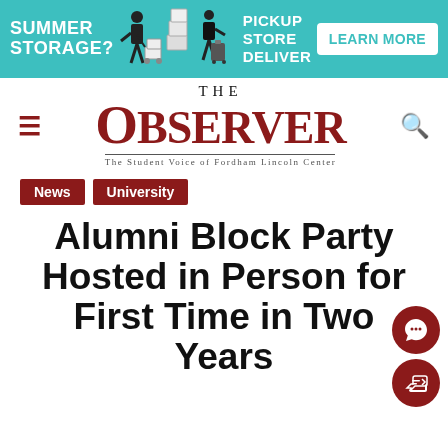[Figure (infographic): Banner advertisement for summer storage service with teal background. Shows text 'SUMMER STORAGE?', silhouettes of people with boxes, 'PICKUP STORE DELIVER' text, and a 'LEARN MORE' button.]
THE OBSERVER — The Student Voice of Fordham Lincoln Center
News
University
Alumni Block Party Hosted in Person for First Time in Two Years